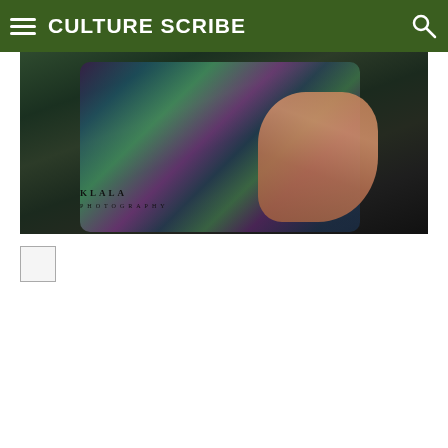CULTURE SCRIBE
[Figure (photo): Fashion photography showing a person wearing an iridescent/holographic dark sequin dress with rainbow shimmer effect. A hand with long nails and a large ring is visible resting on the hip. Watermark reads 'KLALA PHOTOGRAPHY' in the lower left. Background is dark green/grey studio backdrop.]
[Figure (photo): Small thumbnail image placeholder, shown as an empty outlined square box]